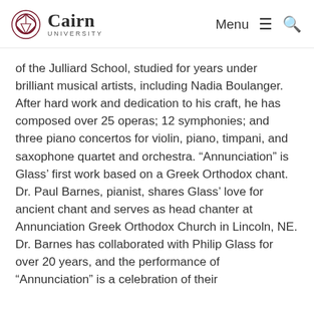Cairn University — Menu / Search navigation
of the Julliard School, studied for years under brilliant musical artists, including Nadia Boulanger. After hard work and dedication to his craft, he has composed over 25 operas; 12 symphonies; and three piano concertos for violin, piano, timpani, and saxophone quartet and orchestra. “Annunciation” is Glass’ first work based on a Greek Orthodox chant. Dr. Paul Barnes, pianist, shares Glass’ love for ancient chant and serves as head chanter at Annunciation Greek Orthodox Church in Lincoln, NE. Dr. Barnes has collaborated with Philip Glass for over 20 years, and the performance of “Annunciation” is a celebration of their